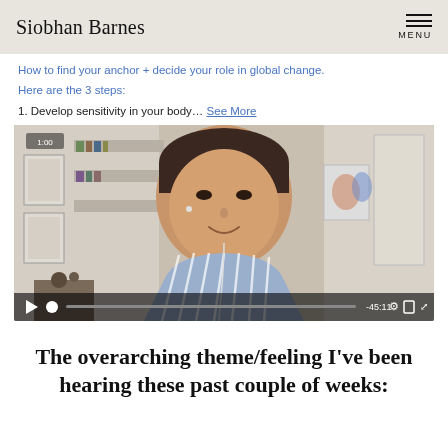Siobhan Barnes | MENU
How to find your anchor + decide your role in global change.
Here are the 3 steps:
1. Develop sensitivity in your body… See More
[Figure (screenshot): Video player showing a woman with dark hair pulled back, wearing a blue and white striped top with earbuds in, smiling at the camera. She is in a home setting with bookshelves behind her. Video controls show -45:11 time stamp and a 1:00 badge in the top left corner.]
The overarching theme/feeling I've been hearing these past couple of weeks: